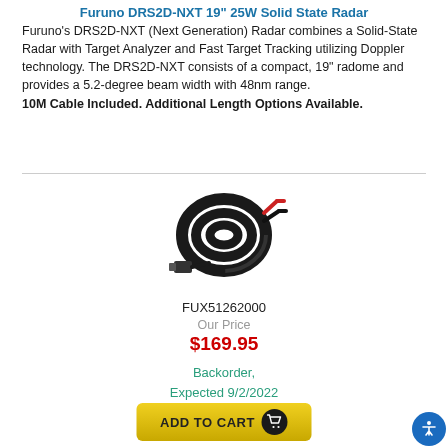Furuno DRS2D-NXT 19" 25W Solid State Radar
Furuno's DRS2D-NXT (Next Generation) Radar combines a Solid-State Radar with Target Analyzer and Fast Target Tracking utilizing Doppler technology. The DRS2D-NXT consists of a compact, 19" radome and provides a 5.2-degree beam width with 48nm range. 10M Cable Included. Additional Length Options Available.
[Figure (photo): Coiled black cable with red and black wires and connector ends, product FUX51262000]
FUX51262000
Our Price
$169.95
Backorder, Expected 9/2/2022
ADD TO CART